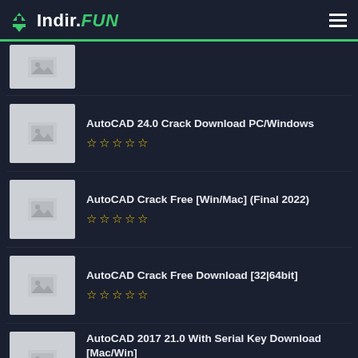Indir.FUN
[Figure (screenshot): Thumbnail placeholder image (gray box with image icon)]
AutoCAD 24.0 Crack Download PC/Windows
[Figure (screenshot): Thumbnail placeholder image (gray box with image icon)]
AutoCAD Crack Free [Win/Mac] (Final 2022)
[Figure (screenshot): Thumbnail placeholder image (gray box with image icon)]
AutoCAD Crack Free Download [32|64bit]
[Figure (screenshot): Thumbnail placeholder image (gray box with image icon)]
AutoCAD 2017 21.0 With Serial Key Download [Mac/Win]